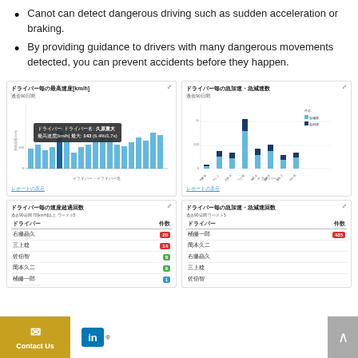Canot can detect dangerous driving such as sudden acceleration or braking.
By providing guidance to drivers with many dangerous movements detected, you can prevent accidents before they happen.
[Figure (bar-chart): Bar chart showing max speed per driver over past 90 days, with tooltip: ドライバー: ドライバー名: 久原重大 最高速度[km/h] 最大: 143 (6.4%/1.7s)]
[Figure (bar-chart): Stacked bar chart showing sudden acceleration and deceleration counts per driver over past 90 days]
| ドライバー | 件数 |
| --- | --- |
| 右藤晶久 | 20 |
| 三上稔 | 14 |
| 佐伯智 | 8 |
| 岡本久二 | 9 |
| 桶藤一郎 | 1 |
| ドライバー | 件数 |
| --- | --- |
| 桶藤一郎 | 435 |
| 岡本久二 |  |
| 右藤晶久 |  |
| 三上稔 |  |
| 佐伯智 |  |
Contact Us  in®